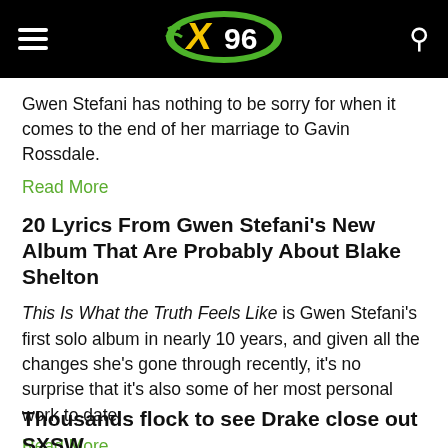X96 (radio station logo with hamburger menu and search icon)
Gwen Stefani has nothing to be sorry for when it comes to the end of her marriage to Gavin Rossdale.
Read More
20 Lyrics From Gwen Stefani's New Album That Are Probably About Blake Shelton
This Is What the Truth Feels Like is Gwen Stefani's first solo album in nearly 10 years, and given all the changes she's gone through recently, it's no surprise that it's also some of her most personal work to date.
Read More
Thousands flock to see Drake close out SXSW